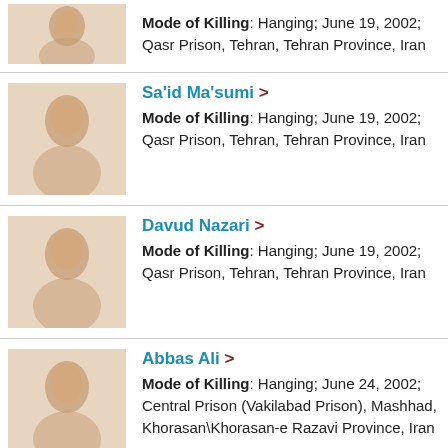Mode of Killing: Hanging; June 19, 2002; Qasr Prison, Tehran, Tehran Province, Iran
Sa'id Ma'sumi > Mode of Killing: Hanging; June 19, 2002; Qasr Prison, Tehran, Tehran Province, Iran
Davud Nazari > Mode of Killing: Hanging; June 19, 2002; Qasr Prison, Tehran, Tehran Province, Iran
Abbas Ali > Mode of Killing: Hanging; June 24, 2002; Central Prison (Vakilabad Prison), Mashhad, Khorasan\Khorasan-e Razavi Province, Iran
Shahram Jalali > Mode of Killing: Hanging; June 27, 2002; Gohardasht Prison, Karaj, Tehran Province, Iran